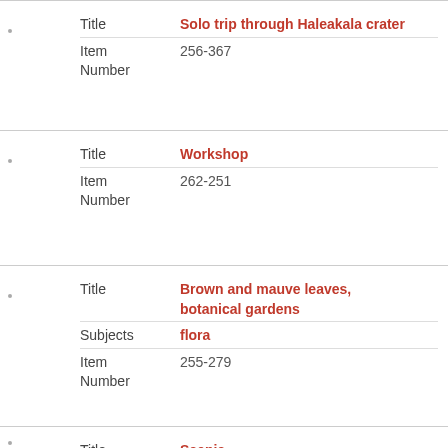Title: Solo trip through Haleakala crater
Item Number: 256-367
Title: Workshop
Item Number: 262-251
Title: Brown and mauve leaves, botanical gardens
Subjects: flora
Item Number: 255-279
Title: Scenic